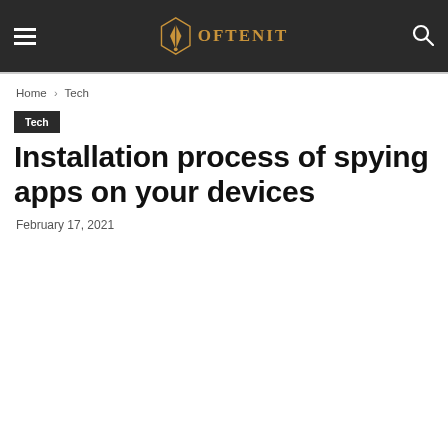OftenIt
Home › Tech
Tech
Installation process of spying apps on your devices
February 17, 2021